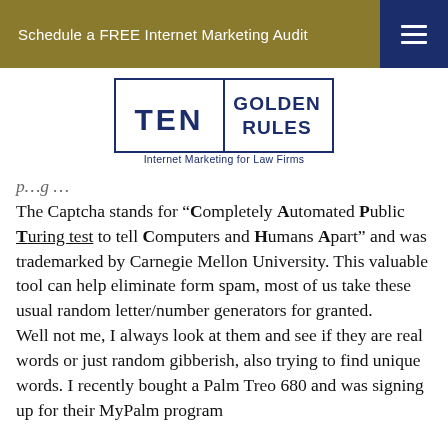Schedule a FREE Internet Marketing Audit
[Figure (logo): Ten Golden Rules - Internet Marketing for Law Firms logo]
The Captcha stands for "Completely Automated Public Turing test to tell Computers and Humans Apart" and was trademarked by Carnegie Mellon University. This valuable tool can help eliminate form spam, most of us take these usual random letter/number generators for granted.
Well not me, I always look at them and see if they are real words or just random gibberish, also trying to find unique words. I recently bought a Palm Treo 680 and was signing up for their MyPalm program